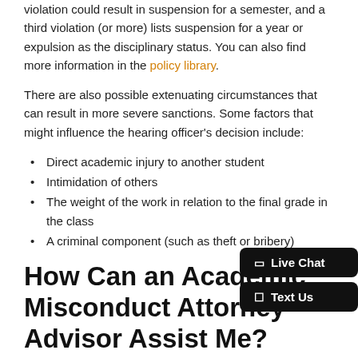violation could result in suspension for a semester, and a third violation (or more) lists suspension for a year or expulsion as the disciplinary status. You can also find more information in the policy library.
There are also possible extenuating circumstances that can result in more severe sanctions. Some factors that might influence the hearing officer's decision include:
Direct academic injury to another student
Intimidation of others
The weight of the work in relation to the final grade in the class
A criminal component (such as theft or bribery)
How Can an Academic Misconduct Attorney-Advisor Assist Me?
If you or a friend has ever faced academic dishonesty at Gonzaga...